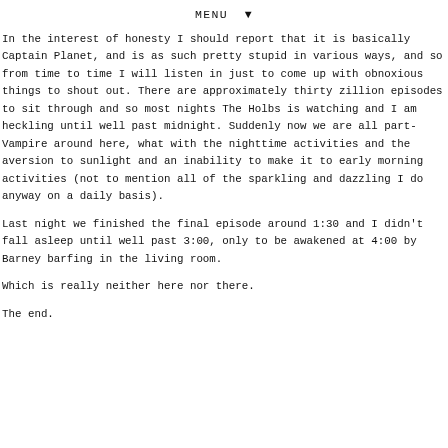MENU ▼
In the interest of honesty I should report that it is basically Captain Planet, and is as such pretty stupid in various ways, and so from time to time I will listen in just to come up with obnoxious things to shout out. There are approximately thirty zillion episodes to sit through and so most nights The Holbs is watching and I am heckling until well past midnight. Suddenly now we are all part-Vampire around here, what with the nighttime activities and the aversion to sunlight and an inability to make it to early morning activities (not to mention all of the sparkling and dazzling I do anyway on a daily basis).
Last night we finished the final episode around 1:30 and I didn't fall asleep until well past 3:00, only to be awakened at 4:00 by Barney barfing in the living room.
Which is really neither here nor there.
The end.